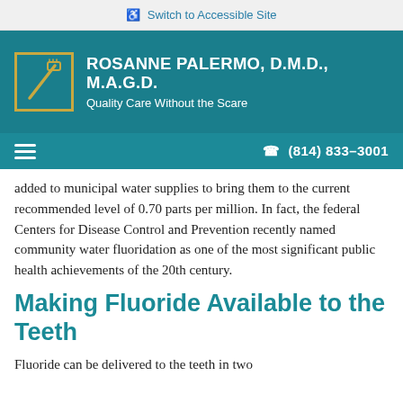♿ Switch to Accessible Site
[Figure (logo): Rosanne Palermo DMD MAGD dental practice logo with toothbrush icon in gold/teal square, white text reading ROSANNE PALERMO, D.M.D., M.A.G.D. and Quality Care Without the Scare on teal background]
≡   ✆ (814) 833-3001
added to municipal water supplies to bring them to the current recommended level of 0.70 parts per million. In fact, the federal Centers for Disease Control and Prevention recently named community water fluoridation as one of the most significant public health achievements of the 20th century.
Making Fluoride Available to the Teeth
Fluoride can be delivered to the teeth in two...